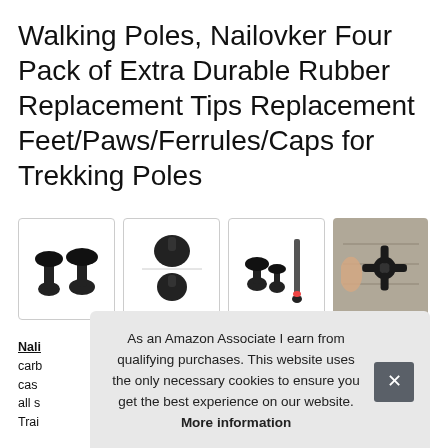Walking Poles, Nailovker Four Pack of Extra Durable Rubber Replacement Tips Replacement Feet/Paws/Ferrules/Caps for Trekking Poles
[Figure (photo): Four product images of rubber trekking pole replacement tips/ferrules shown from different angles, including close-ups and a photo of the tip being held]
Nali... carb... cas... all s... Trai...
As an Amazon Associate I earn from qualifying purchases. This website uses the only necessary cookies to ensure you get the best experience on our website. More information